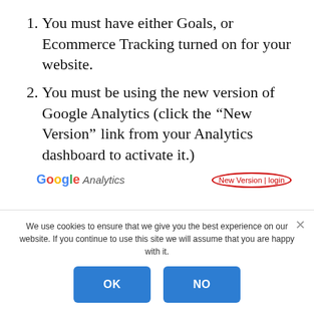You must have either Goals, or Ecommerce Tracking turned on for your website.
You must be using the new version of Google Analytics (click the “New Version” link from your Analytics dashboard to activate it.)
[Figure (screenshot): Google Analytics logo with 'New Version | login' link circled in red on the right side]
We use cookies to ensure that we give you the best experience on our website. If you continue to use this site we will assume that you are happy with it.